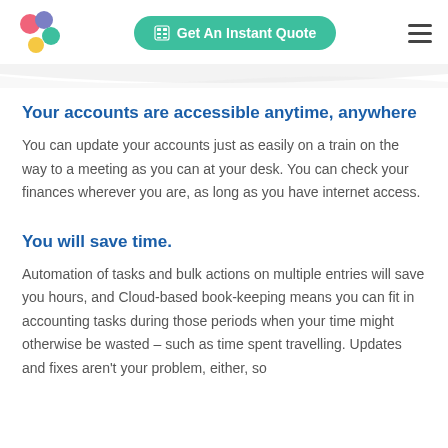[Figure (logo): Colorful flower/blob logo with pink, purple, teal, and yellow circles]
[Figure (other): Green rounded button with calculator icon and text 'Get An Instant Quote']
[Figure (other): Hamburger menu icon (three horizontal lines)]
Your accounts are accessible anytime, anywhere
You can update your accounts just as easily on a train on the way to a meeting as you can at your desk. You can check your finances wherever you are, as long as you have internet access.
You will save time.
Automation of tasks and bulk actions on multiple entries will save you hours, and Cloud-based book-keeping means you can fit in accounting tasks during those periods when your time might otherwise be wasted – such as time spent travelling. Updates and fixes aren't your problem, either, so the simple operation continues the smooth...